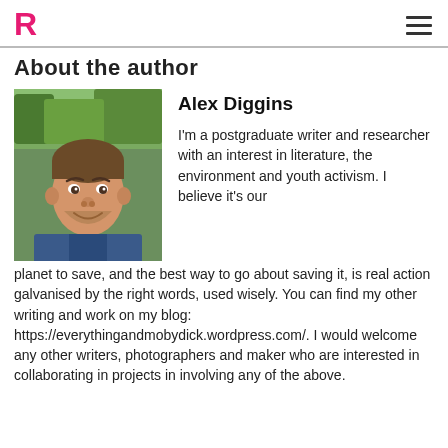R [logo] | hamburger menu
About the author
[Figure (photo): Headshot of Alex Diggins, a young man with short brown hair and a short beard, smiling, wearing a blue jacket, outdoors with green trees in the background.]
Alex Diggins
I'm a postgraduate writer and researcher with an interest in literature, the environment and youth activism. I believe it's our planet to save, and the best way to go about saving it, is real action galvanised by the right words, used wisely. You can find my other writing and work on my blog: https://everythingandmobydick.wordpress.com/. I would welcome any other writers, photographers and maker who are interested in collaborating in projects in involving any of the above.